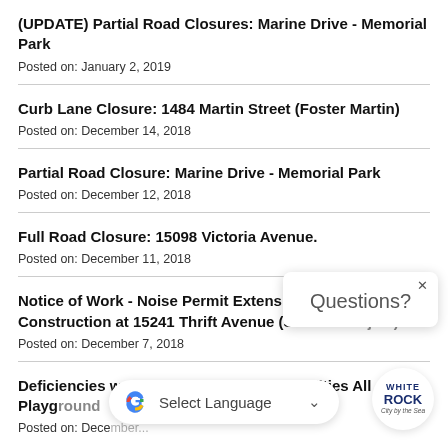(UPDATE) Partial Road Closures: Marine Drive - Memorial Park
Posted on: January 2, 2019
Curb Lane Closure: 1484 Martin Street (Foster Martin)
Posted on: December 14, 2018
Partial Road Closure: Marine Drive - Memorial Park
Posted on: December 12, 2018
Full Road Closure: 15098 Victoria Avenue.
Posted on: December 11, 2018
Notice of Work - Noise Permit Extensions for Construction at 15241 Thrift Avenue (Semrush Project)
Posted on: December 7, 2018
Deficiencies work continues at the All Abilities All Ages Playground
Posted on: December...